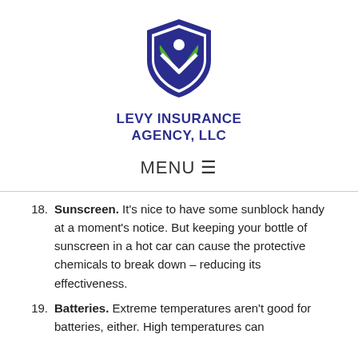[Figure (logo): Levy Insurance Agency LLC shield logo with green leaves and dark blue border]
LEVY INSURANCE AGENCY, LLC
MENU ≡
18. Sunscreen. It's nice to have some sunblock handy at a moment's notice. But keeping your bottle of sunscreen in a hot car can cause the protective chemicals to break down – reducing its effectiveness.
19. Batteries. Extreme temperatures aren't good for batteries, either. High temperatures can...